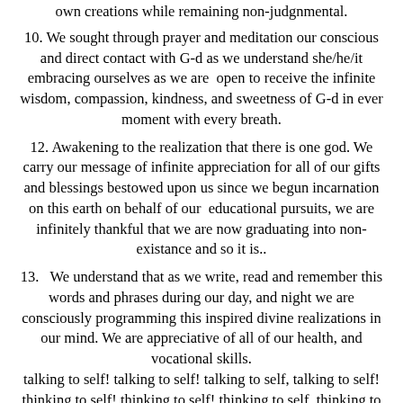own creations while remaining non-judgnmental.
10. We sought through prayer and meditation our conscious and direct contact with G-d as we understand she/he/it embracing ourselves as we are  open to receive the infinite wisdom, compassion, kindness, and sweetness of G-d in ever moment with every breath.
12. Awakening to the realization that there is one god. We carry our message of infinite appreciation for all of our gifts and blessings bestowed upon us since we begun incarnation on this earth on behalf of our  educational pursuits, we are infinitely thankful that we are now graduating into non-existance and so it is..
13.   We understand that as we write, read and remember this words and phrases during our day, and night we are consciously programming this inspired divine realizations in our mind. We are appreciative of all of our health, and vocational skills. talking to self! talking to self! talking to self, talking to self! thinking to self! thinking to self! thinking to self, thinking to self! praying to self, praying to self, praying to self! chanting to self, chanting to self, chanting to self! programming self, programming self, programing self! singing to self, singing to self, singing to self! dancing to self, dancing to self, dancing to self! G-d is